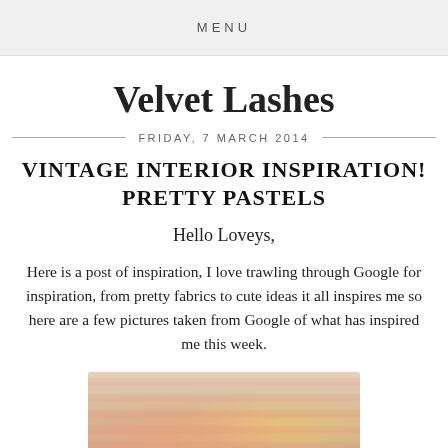MENU
Velvet Lashes
FRIDAY, 7 MARCH 2014
VINTAGE INTERIOR INSPIRATION! PRETTY PASTELS
Hello Loveys,
Here is a post of inspiration, I love trawling through Google for inspiration, from pretty fabrics to cute ideas it all inspires me so here are a few pictures taken from Google of what has inspired me this week.
[Figure (photo): A photograph showing pastel-colored mason jars with lemon slices and decorative items, styled in a vintage manner.]